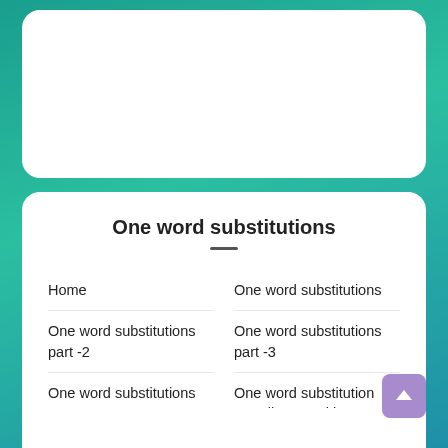One word substitutions
Home
One word substitutions
One word substitutions part -2
One word substitutions part -3
One word substitutions part -4
One word substitution For all competitive exams (S...